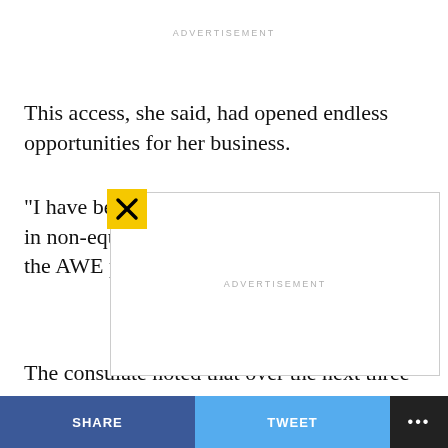ADVERTISEMENT
This access, she said, had opened endless opportunities for her business.
“I have been able to raise more than $50,000 in non-equity funding after I graduated from the AWE program in 2019,” Adebiyi said.
ADVERTISEMENT
The consulate noted that over the next three months,
SHARE   TWEET   …